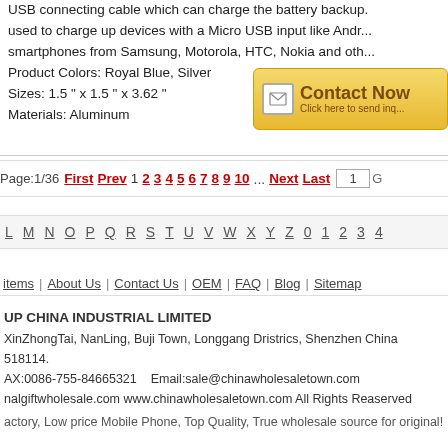USB connecting cable which can charge the battery backup. used to charge up devices with a Micro USB input like Android smartphones from Samsung, Motorola, HTC, Nokia and other. Product Colors: Royal Blue, Silver Sizes: 1.5" x 1.5" x 3.62" Materials: Aluminum
[Figure (other): Contact Now button with envelope icon - Click here to send inquiry]
Page:1/36 First Prev 1 2 3 4 5 6 7 8 9 10 ... Next Last
L M N O P Q R S T U V W X Y Z 0 1 2 3 4
Items | About Us | Contact Us | OEM | FAQ | Blog | Sitemap
UP CHINA INDUSTRIAL LIMITED
XinZhongTai, NanLing, Buji Town, Longgang Dristrics, Shenzhen China 518114.
AX:0086-755-84665321    Email:sale@chinawholesaletown.com
nalgiftwholesale.com www.chinawholesaletown.com All Rights Reaserved
actory, Low price Mobile Phone, Top Quality, True wholesale source for original!